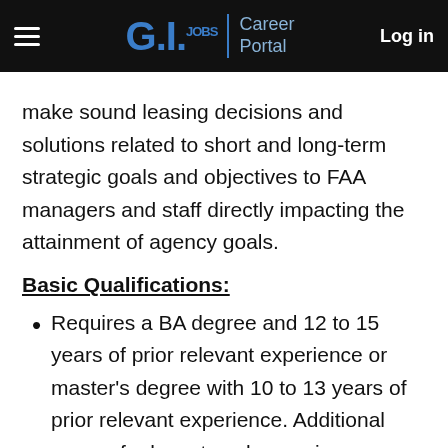G.I. Jobs | Career Portal — Log in
make sound leasing decisions and solutions related to short and long-term strategic goals and objectives to FAA managers and staff directly impacting the attainment of agency goals.
Basic Qualifications:
Requires a BA degree and 12 to 15 years of prior relevant experience or master's degree with 10 to 13 years of prior relevant experience. Additional years of relevant work experience may be substituted for a